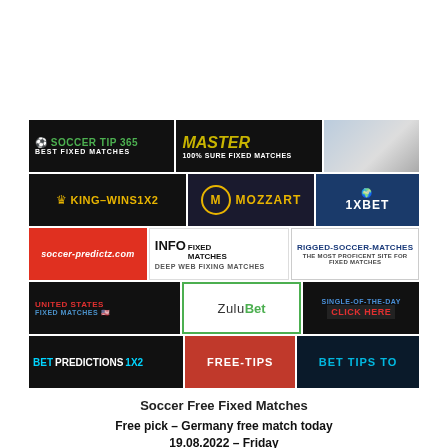[Figure (infographic): Grid of 5 rows × 3 columns of sports betting / soccer prediction website banner ads including Soccer Tip 365, Master Fixed Matches, King-Wins1x2, Mozzart, 1XBET, soccer-predictz.com, Info Fixed Matches, Rigged Soccer Matches, United States Fixed Matches, ZuluBet, Single-of-the-Day, Bet Predictions 1X2, Free-Tips, and Bet Tips banners.]
Soccer Free Fixed Matches
Free pick – Germany free match today 19.08.2022 – Friday